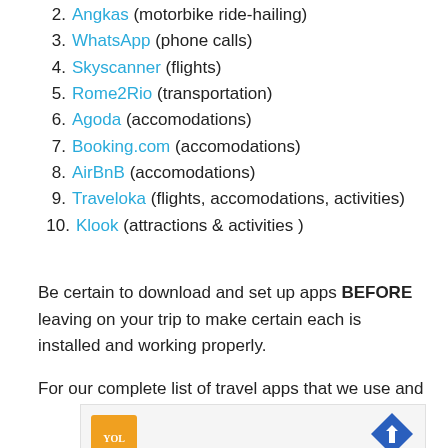2. Angkas (motorbike ride-hailing)
3. WhatsApp (phone calls)
4. Skyscanner (flights)
5. Rome2Rio (transportation)
6. Agoda (accomodations)
7. Booking.com (accomodations)
8. AirBnB (accomodations)
9. Traveloka (flights, accomodations, activities)
10. Klook (attractions & activities )
Be certain to download and set up apps BEFORE leaving on your trip to make certain each is installed and working properly.
For our complete list of travel apps that we use and
[Figure (other): Advertisement banner with an orange logo (YOL), a blue diamond navigation icon, a play button, and text 'Pack the Perfect School Lunch']